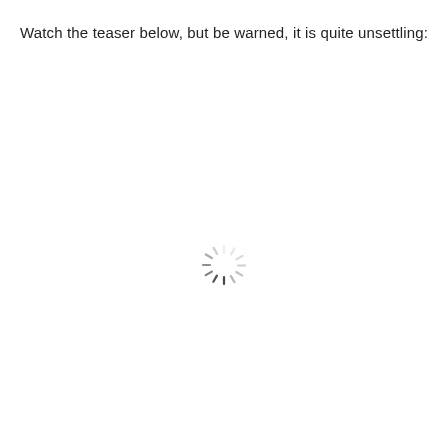Watch the teaser below, but be warned, it is quite unsettling:
[Figure (other): A loading spinner (circular throbber) consisting of short dashes arranged in a circle, partially visible suggesting rotation, centered in the lower-middle portion of the page.]